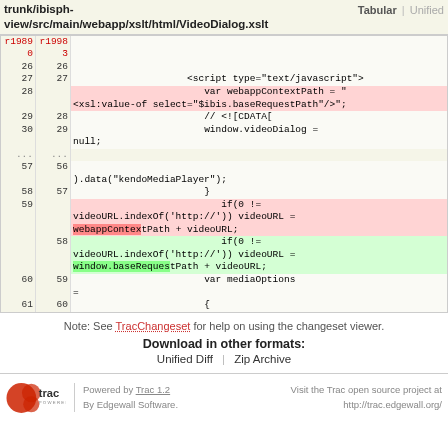trunk/ibisph-view/src/main/webapp/xslt/html/VideoDialog.xslt   Tabular | Unified
[Figure (screenshot): Tabular diff view of VideoDialog.xslt between r19890 and r19983, showing added/removed lines with red/green highlighting]
Note: See TracChangeset for help on using the changeset viewer.
Download in other formats: Unified Diff | Zip Archive
Powered by Trac 1.2 By Edgewall Software.   Visit the Trac open source project at http://trac.edgewall.org/